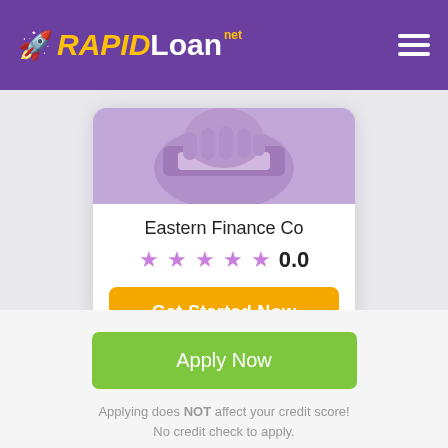[Figure (logo): RapidLoan.net logo with rocket icon on purple header bar with hamburger menu]
[Figure (photo): Person holding cash/money, purple-tinted image in card header]
Eastern Finance Co
[Figure (other): 5 purple stars rating display with 0.0 rating number]
Get Started Now
Apply Now
Applying does NOT affect your credit score! No credit check to apply.